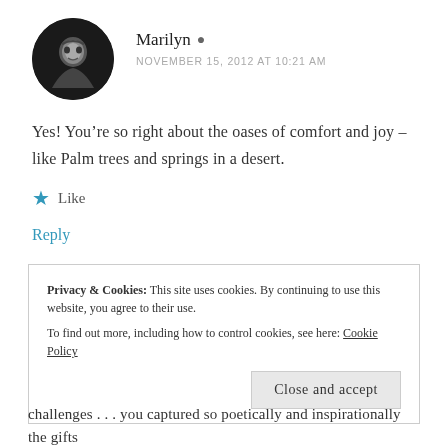Marilyn
NOVEMBER 15, 2012 AT 10:21 AM
Yes! You’re so right about the oases of comfort and joy – like Palm trees and springs in a desert.
★ Like
Reply
Privacy & Cookies: This site uses cookies. By continuing to use this website, you agree to their use. To find out more, including how to control cookies, see here: Cookie Policy
Close and accept
challenges . . . you captured so poetically and inspirationally the gifts